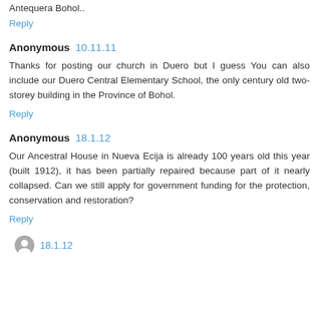Antequera Bohol..
Reply
Anonymous  10.11.11
Thanks for posting our church in Duero but I guess You can also include our Duero Central Elementary School, the only century old two-storey building in the Province of Bohol.
Reply
Anonymous  18.1.12
Our Ancestral House in Nueva Ecija is already 100 years old this year (built 1912), it has been partially repaired because part of it nearly collapsed. Can we still apply for government funding for the protection, conservation and restoration?
Reply
Anonymous  18.1.12